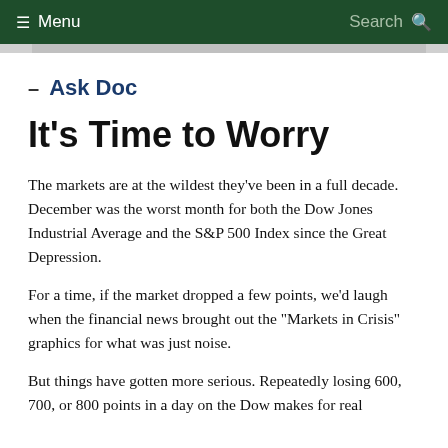≡ Menu   Search 🔍
Ask Doc
It's Time to Worry
The markets are at the wildest they've been in a full decade. December was the worst month for both the Dow Jones Industrial Average and the S&P 500 Index since the Great Depression.
For a time, if the market dropped a few points, we'd laugh when the financial news brought out the "Markets in Crisis" graphics for what was just noise.
But things have gotten more serious. Repeatedly losing 600, 700, or 800 points in a day on the Dow makes for real